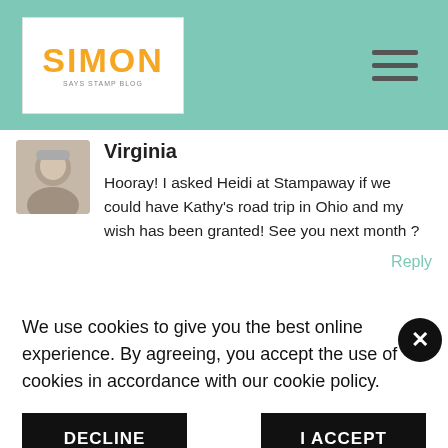Simon Says Stamp Blog
Virginia
Hooray! I asked Heidi at Stampaway if we could have Kathy's road trip in Ohio and my wish has been granted! See you next month ?
Reply
We use cookies to give you the best online experience. By agreeing, you accept the use of cookies in accordance with our cookie policy.
DECLINE
I ACCEPT
Privacy Policy   Cookie Policy
Thanks again :)